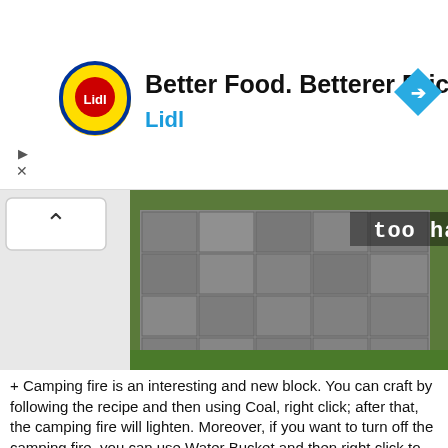[Figure (screenshot): Lidl advertisement banner with logo, text 'Better Food. Betterer Prices. Lidl' and a blue diamond arrow icon]
[Figure (screenshot): Minecraft screenshot showing cobblestone/stone blocks with text 'too hard' overlay, and a collapse/expand button on the left]
+ Camping fire is an interesting and new block. You can craft by following the recipe and then using Coal, right click; after that, the camping fire will lighten. Moreover, if you want to turn off the camping fire, you can use Water Bucket and then right click to the camping fire.
[Figure (screenshot): Minecraft crafting recipe screenshots showing ingredients and crafting steps for camping fire]